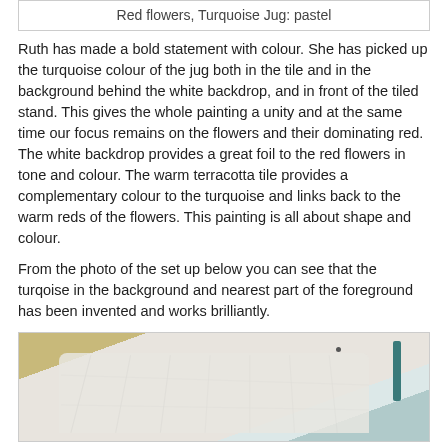Red flowers, Turquoise Jug: pastel
Ruth has made a bold statement with colour.  She has picked up the turquoise colour of the jug both in the tile and in the background behind the white backdrop, and in front of the tiled stand. This gives the whole painting a unity and at the same time our focus remains on the flowers and their dominating red. The white backdrop provides a great foil to the red flowers in tone and colour. The warm terracotta tile provides a complementary colour to the turquoise and links back to the warm reds of the flowers. This painting is all about shape and colour.
From the photo of the set up below you can see that the turqoise in the background and nearest part of the foreground has been invented and works brilliantly.
[Figure (photo): A photo showing a white crinkled cloth/backdrop with a teal/turquoise vertical element visible at the upper right, set against a yellowish-green background. This is the reference setup for the painting.]